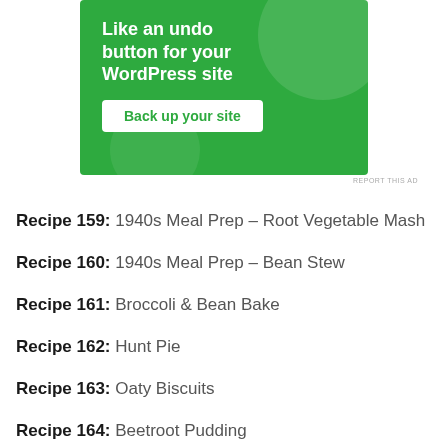[Figure (other): Green advertisement banner with text 'Like an undo button for your WordPress site' and a white button 'Back up your site']
REPORT THIS AD
Recipe 159: 1940s Meal Prep – Root Vegetable Mash
Recipe 160: 1940s Meal Prep – Bean Stew
Recipe 161: Broccoli & Bean Bake
Recipe 162: Hunt Pie
Recipe 163: Oaty Biscuits
Recipe 164: Beetroot Pudding